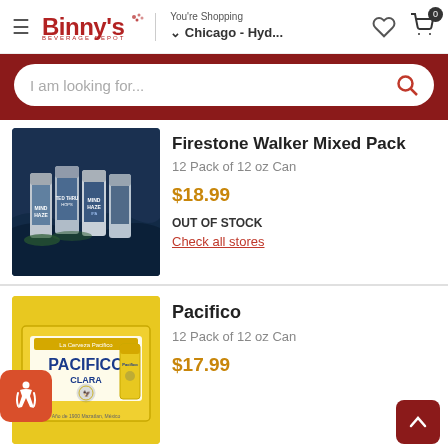Binny's Beverage Depot — You're Shopping Chicago - Hyd...
I am looking for...
[Figure (photo): Firestone Walker Mixed Pack — 12 Pack of 12 oz Can product image showing multiple beer cans in dark blue packaging]
Firestone Walker Mixed Pack
12 Pack of 12 oz Can
$18.99
OUT OF STOCK
Check all stores
[Figure (photo): Pacifico Clara — 12 Pack of 12 oz Can product image showing yellow box packaging]
Pacifico
12 Pack of 12 oz Can
$17.99